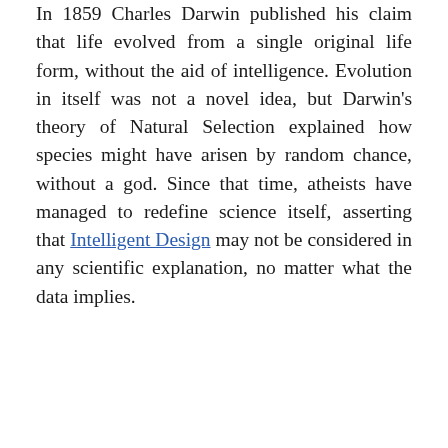In 1859 Charles Darwin published his claim that life evolved from a single original life form, without the aid of intelligence. Evolution in itself was not a novel idea, but Darwin's theory of Natural Selection explained how species might have arisen by random chance, without a god. Since that time, atheists have managed to redefine science itself, asserting that Intelligent Design may not be considered in any scientific explanation, no matter what the data implies.